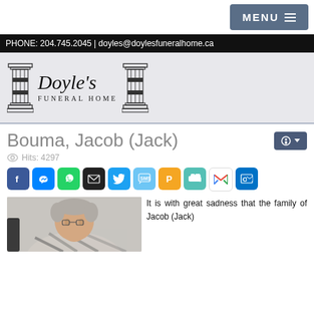MENU
PHONE: 204.745.2045 | doyles@doylesfuneralhome.ca
[Figure (logo): Doyle's Funeral Home logo with two classical columns flanking the name in script and serif text]
Bouma, Jacob (Jack)
Hits: 4297
[Figure (infographic): Social media share icons: Facebook, Messenger, WhatsApp, Email, Twitter, SMS, Pindio, Evernote, Gmail, Outlook]
[Figure (photo): Photo of Jacob (Jack) Bouma, elderly man with grey hair]
It is with great sadness that the family of Jacob (Jack)